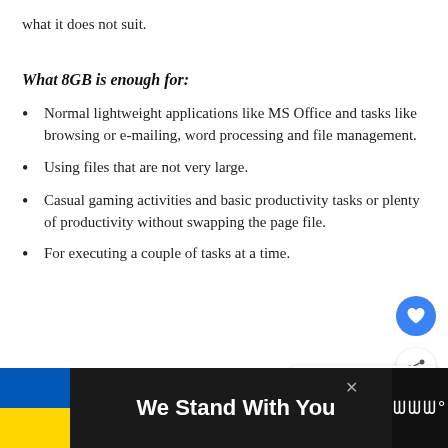what it does not suit.
What 8GB is enough for:
Normal lightweight applications like MS Office and tasks like browsing or e-mailing, word processing and file management.
Using files that are not very large.
Casual gaming activities and basic productivity tasks or plenty of productivity without swapping the page file.
For executing a couple of tasks at a time.